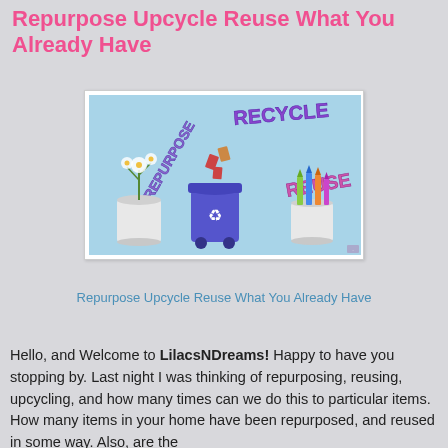Repurpose Upcycle Reuse What You Already Have
[Figure (illustration): Illustration with light blue background showing a recycling bin, a plant in a tin can, pencils/markers in a tin can, and three words: REPURPOSE, RECYCLE, REUSE in stylized text]
Repurpose Upcycle Reuse What You Already Have
Hello, and Welcome to LilacsNDreams! Happy to have you stopping by. Last night I was thinking of repurposing, reusing, upcycling, and how many times can we do this to particular items. How many items in your home have been repurposed, and reused in some way. Also, are the